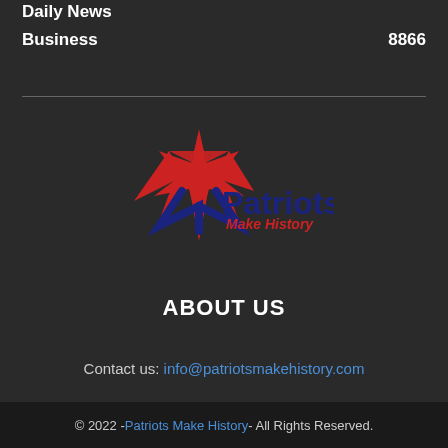Business   8866
[Figure (logo): Patriots Make History logo with red star and blue text]
ABOUT US
Contact us: info@patriotsmakehistory.com
© 2022 - Patriots Make History - All Rights Reserved.